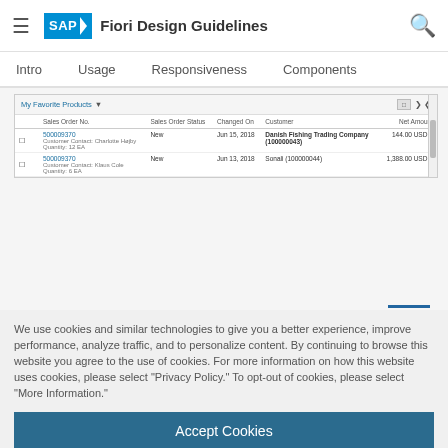SAP Fiori Design Guidelines
Intro  Usage  Responsiveness  Components
[Figure (screenshot): SAP Fiori table screenshot showing My Favorite Products list with sales orders including columns: Sales Order No., Sales Order Status, Changed On, Customer, Net Amount. Two rows visible: 500009370 New Jun 15, 2018 Danish Fishing Trading Company (100000043) 144.00 USD; 500009370 New Jun 13, 2018 Sonali (100000044) 1,388.00 USD.]
We use cookies and similar technologies to give you a better experience, improve performance, analyze traffic, and to personalize content. By continuing to browse this website you agree to the use of cookies. For more information on how this website uses cookies, please select “Privacy Policy.” To opt-out of cookies, please select “More Information.”
Accept Cookies
More Information
Privacy Policy | Powered by: TrustArc